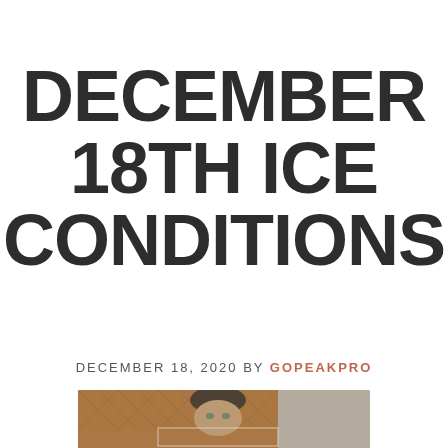DECEMBER 18TH ICE CONDITIONS
DECEMBER 18, 2020 by GOPEAKPRO
[Figure (photo): A person wearing a dark beanie hat, photographed from below looking up, with a brown quilted interior visible in the background and a light gray exterior on the right side.]